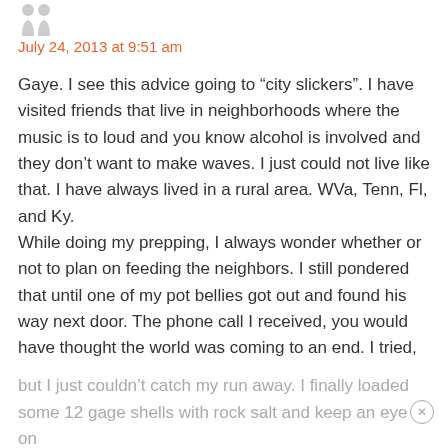[Figure (illustration): Small avatar/user icon at top left, partially visible]
July 24, 2013 at 9:51 am
Gaye. I see this advice going to “city slickers”. I have visited friends that live in neighborhoods where the music is to loud and you know alcohol is involved and they don’t want to make waves. I just could not live like that. I have always lived in a rural area. WVa, Tenn, Fl, and Ky.
While doing my prepping, I always wonder whether or not to plan on feeding the neighbors. I still pondered that until one of my pot bellies got out and found his way next door. The phone call I received, you would have thought the world was coming to an end. I tried,
but I just couldn’t catch my run away. I finally loaded some 12 gage shells with rock salt and keep an eye on